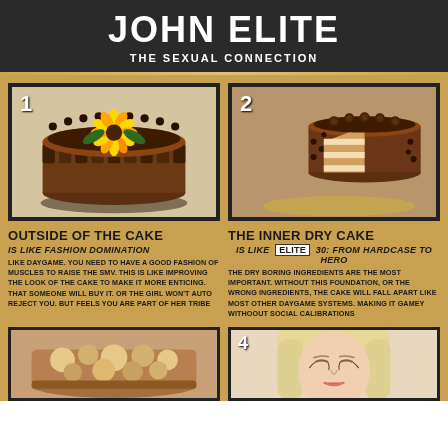JOHN ELITE
THE SEXUAL CONNECTION
[Figure (photo): Chocolate cake with sunflower decorations on top, numbered 1]
[Figure (photo): Sliced chocolate layer cake on stand, numbered 2]
OUTSIDE OF THE CAKE
IS LIKE FASHION DOMINATION
LIKE DAYGAME. YOU NEED TO HAVE A GOOD FASHION OF MUSCLES TO RAISE THE SMV. THIS IS LIKE IMPROVING THE LOOK OF THE CAKE TO MAKE IT MORE ENTICING. THAT SOMEONE WILL BUY IT. OR THE GIRL WON'T AUTO REJECT YOU. BUT FEELS YOU ARE PART OF HER TRIBE
THE INNER DRY CAKE
IS LIKE  ELITE  30: FROM HARDCASE TO HERO
THE DRY BORING INGREDIENTS ARE THE MOST IMPORTANT. WITHOUT THIS FOUNDATION, OR THE WRONG INGREDIENTS, THE CAKE WILL FALL APART LIKE MOST OTHER DAYGAME SYSTEMS. MAKING IT GAMEY WITHOOUT SOCIAL CALIBRATIONS
[Figure (photo): Casserole or baked dish, numbered 3]
[Figure (photo): Blonde woman, numbered 4]